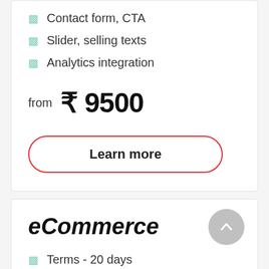Contact form, CTA
Slider, selling texts
Analytics integration
from ₹ 9500
Learn more
eCommerce
Terms - 20 days